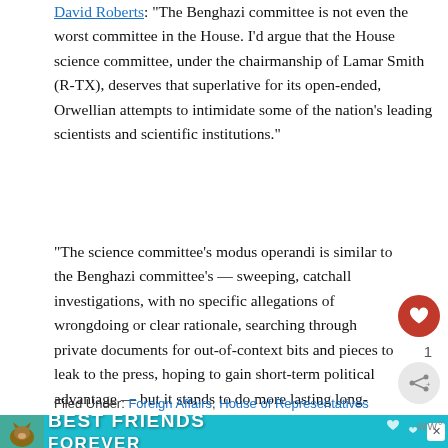David Roberts: "The Benghazi committee is not even the worst committee in the House. I'd argue that the House science committee, under the chairmanship of Lamar Smith (R-TX), deserves that superlative for its open-ended, Orwellian attempts to intimidate some of the nation's leading scientists and scientific institutions."
“The science committee’s modus operandi is similar to the Benghazi committee’s — sweeping, catchall investigations, with no specific allegations of wrongdoing or clear rationale, searching through private documents for out-of-context bits and pieces to leak to the press, hoping to gain short-term political advantage — but it stands to do more lasting long-term damage.”
Filed Under: Foreign Affairs, House of Representatives
[Figure (advertisement): Best Friends Forever cat advertisement banner in teal/cyan color with cat image]